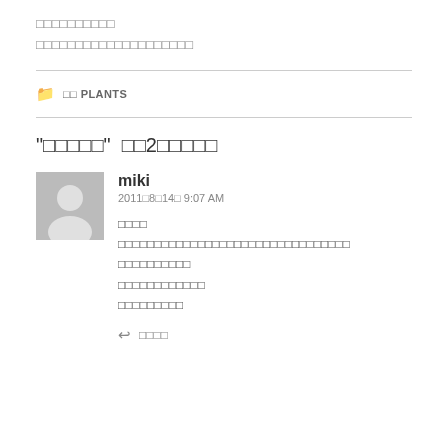□□□□□□□□□□
□□□□□□□□□□□□□□□□□□□□
□□ PLANTS
"□□□□□" □□2□□□□□
miki
2011□8□14□ 9:07 AM
□□□□
□□□□□□□□□□□□□□□□□□□□□□□□□□□□□□□□
□□□□□□□□□□
□□□□□□□□□□□□
□□□□□□□□□
□□□□